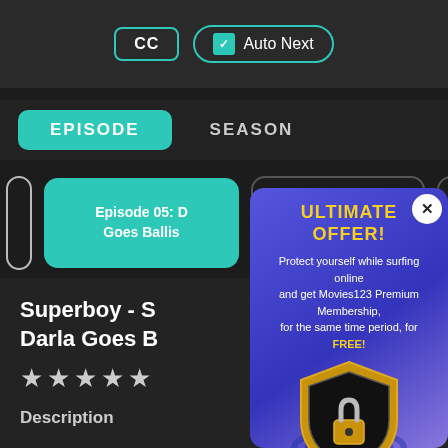[Figure (screenshot): Screenshot of a streaming website (Movies123) showing CC and Auto Next controls at the top, Episode/Season tab navigation, episode card for Episode 05, show title 'Superboy - S... Darla Goes B...', star rating, and Description label. A popup overlay for 'ULTIMATE OFFER!' is shown promoting Movies123 Premium Membership with a shield+lock graphic.]